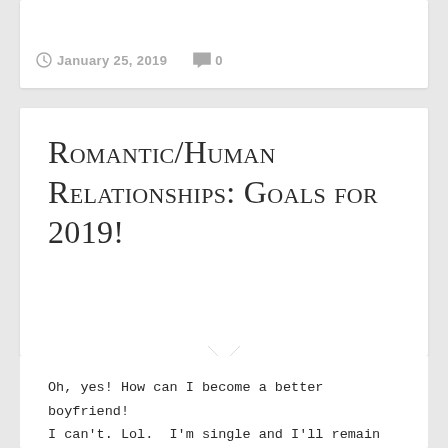January 25, 2019  0
Romantic/Human Relationships: Goals for 2019!
Oh, yes! How can I become a better boyfriend! I can't. Lol.  I'm single and I'll remain this way for a very long-time.  However, looking back on my past relationships, there were some areas of improvement.  This is what relationships are about. Jack Canfield would ask his wife "how did I do today on a...